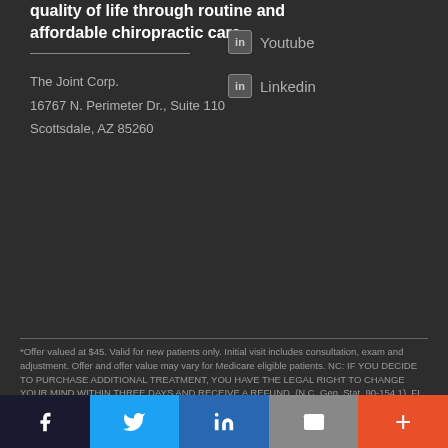quality of life through routine and affordable chiropractic care.
Youtube
Linkedin
The Joint Corp.
16767 N. Perimeter Dr., Suite 110
Scottsdale, AZ 85260
*Offer valued at $45. Valid for new patients only. Initial visit includes consultation, exam and adjustment. Offer and offer value may vary for Medicare eligible patients. NC: IF YOU DECIDE TO PURCHASE ADDITIONAL TREATMENT, YOU HAVE THE LEGAL RIGHT TO CHANGE YOUR MIND WITHIN THREE DAYS AND RECEIVE A REFUND. (N.C. Gen. Stat. 90-154.1). FL & KY: THE PATIENT AND ANY OTHER PERSON RESPONSIBLE FOR PAYMENT HAS THE RIGHT TO REFUSE TO PAY, CANCEL (RESCIND) PAYMENT OR BE REIMBURSED FOR ANY OTHER SERVICE, EXAMINATION OR TREATMENT WHICH IS PERFORMED AS A RESULT OF AND WITHIN 72 HOURS OF RESPONDING TO THE ADVERTISEMENT FOR THE FREE, DISCOUNTED OR REDUCED FEE SERVICES, EXAMINATION OR TREATMENT. (FLA. STAT. 456.02) (201 KAR 21:065). Subject to additional state statutes and regulations. See clinic for chiropractor(s)' name and license info. Clinics managed and/or owned by franchisee or Prof. Corps. Restrictions may
[Figure (infographic): Social sharing bar with Facebook, Twitter, LinkedIn, Mail, and Plus buttons]